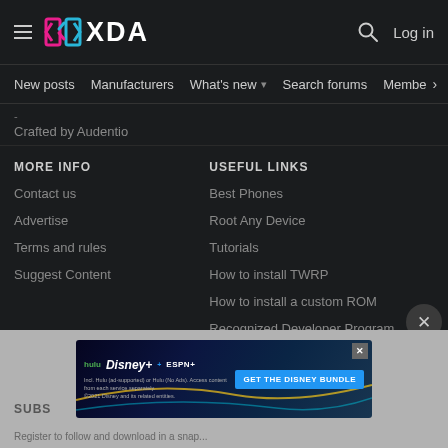XDA
New posts  Manufacturers  What's new  Search forums  Members  >
Crafted by Audentio
MORE INFO
Contact us
Advertise
Terms and rules
Suggest Content
USEFUL LINKS
Best Phones
Root Any Device
Tutorials
How to install TWRP
How to install a custom ROM
Recognized Developer Program
[Figure (screenshot): Disney Bundle advertisement banner showing Hulu, Disney+, ESPN+ logos with 'GET THE DISNEY BUNDLE' call-to-action. Fine print: Incl. Hulu (ad-supported) or Hulu (No Ads). Access content from each service separately. ©2021 Disney and its related entities.]
SUBS
Register to follow and download in a snap...